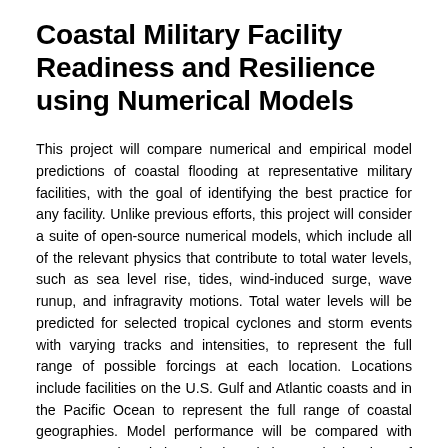Coastal Military Facility Readiness and Resilience using Numerical Models
This project will compare numerical and empirical model predictions of coastal flooding at representative military facilities, with the goal of identifying the best practice for any facility. Unlike previous efforts, this project will consider a suite of open-source numerical models, which include all of the relevant physics that contribute to total water levels, such as sea level rise, tides, wind-induced surge, wave runup, and infragravity motions. Total water levels will be predicted for selected tropical cyclones and storm events with varying tracks and intensities, to represent the full range of possible forcings at each location. Locations include facilities on the U.S. Gulf and Atlantic coasts and in the Pacific Ocean to represent the full range of coastal geographies. Model performance will be compared with respect to inundation depths, timing and duration of flooding at each installation, as well as computational costs. This comparative assessment will